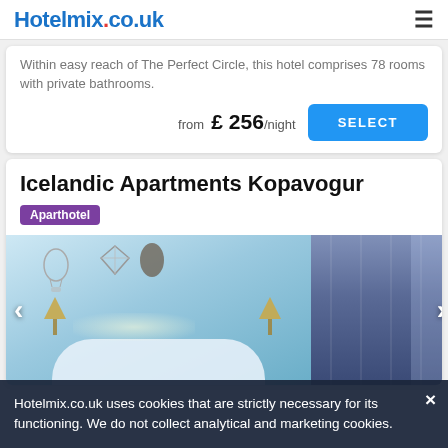Hotelmix.co.uk
Within easy reach of The Perfect Circle, this hotel comprises 78 rooms with private bathrooms.
from £ 256/night
Icelandic Apartments Kopavogur
Aparthotel
[Figure (photo): Hotel room interior with light blue walls, decorative wall art, oval mirror, gold wall lamps, white bedding on left; curtains on right side]
Hotelmix.co.uk uses cookies that are strictly necessary for its functioning. We do not collect analytical and marketing cookies.